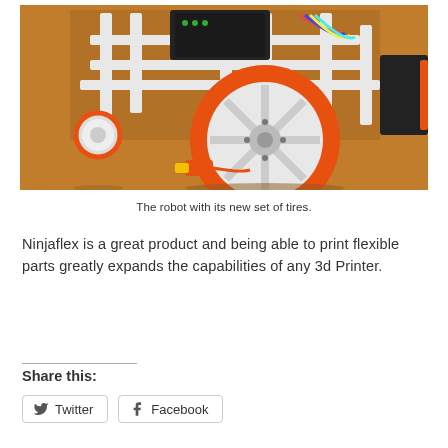[Figure (photo): Close-up photo of a small wheeled robot with white 3D-printed frame and large orange rubber tires (Ninjaflex). The robot has two large front wheels with orange tires and white spoked rims, a smaller castor wheel on the left, electronic components and wiring visible on the frame, and an orange battery connector on the ground.]
The robot with its new set of tires.
Ninjaflex is a great product and being able to print flexible parts greatly expands the capabilities of any 3d Printer.
Share this: